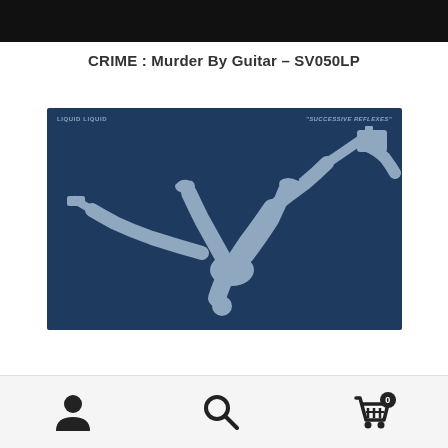[Figure (photo): Black bar at top, partial view of an album or product image cropped at top]
CRIME : Murder By Guitar – SV050LP
[Figure (illustration): Album cover with dark navy blue background showing a grey silhouette illustration of a breakdancer doing a headstand/freeze move. Top left text reads 'LIQUID LIQUID', top right reads '"SUCCESSIVE REFLEXES"']
Navigation bar with user icon, search icon, and shopping cart icon showing badge 0